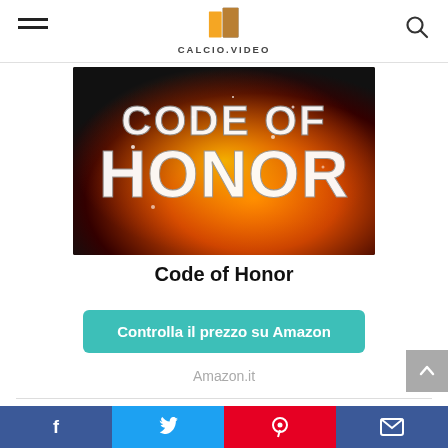CALCIO.VIDEO
[Figure (photo): Movie poster for Code of Honor showing fiery explosion with bold white text 'CODE OF HONOR']
Code of Honor
Controlla il prezzo su Amazon
Amazon.it
[Figure (photo): Diamond plate metal texture with blood stains, partial image at bottom of page]
Social share bar: Facebook, Twitter, Pinterest, Email